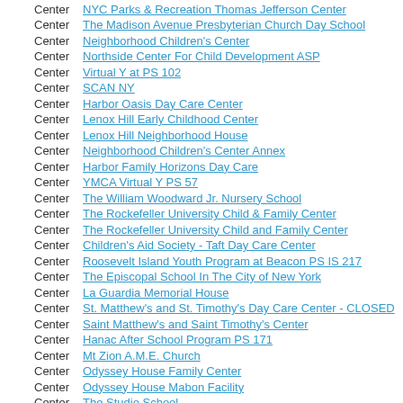Center NYC Parks & Recreation Thomas Jefferson Center
Center The Madison Avenue Presbyterian Church Day School
Center Neighborhood Children's Center
Center Northside Center For Child Development ASP
Center Virtual Y at PS 102
Center SCAN NY
Center Harbor Oasis Day Care Center
Center Lenox Hill Early Childhood Center
Center Lenox Hill Neighborhood House
Center Neighborhood Children's Center Annex
Center Harbor Family Horizons Day Care
Center YMCA Virtual Y PS 57
Center The William Woodward Jr. Nursery School
Center The Rockefeller University Child & Family Center
Center The Rockefeller University Child and Family Center
Center Children's Aid Society - Taft Day Care Center
Center Roosevelt Island Youth Program at Beacon PS IS 217
Center The Episcopal School In The City of New York
Center La Guardia Memorial House
Center St. Matthew's and St. Timothy's Day Care Center - CLOSED
Center Saint Matthew's and Saint Timothy's Center
Center Hanac After School Program PS 171
Center Mt Zion A.M.E. Church
Center Odyssey House Family Center
Center Odyssey House Mabon Facility
Center The Studio School
Center Open Door Child Care Center
Center Columbus Avenue KinderCare
Center Mandell Nursery School and Kindergarten
Center P.S. 9 Chess Renaissance A.S.P.
Center Ace School Restaurant Education Foundation